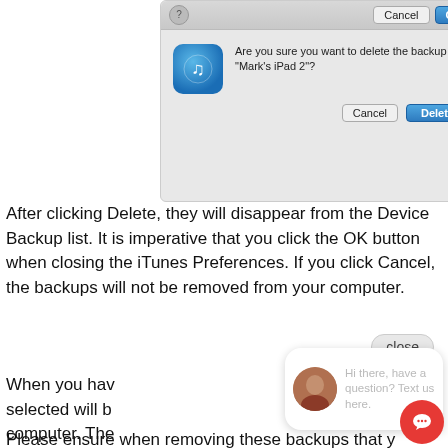[Figure (screenshot): iTunes dialog box asking 'Are you sure you want to delete the backup Mark's iPad 2?' with Cancel and Delete buttons, and a top bar with Cancel and OK buttons.]
After clicking Delete, they will disappear from the Device Backup list. It is imperative that you click the OK button when closing the iTunes Preferences. If you click Cancel, the backups will not be removed from your computer.
When you hav... selected will b... computer. The... can not be restored.
Please ensure when removing these backups that y... devices already have a current, tested, and reliable backup prior to deletion.